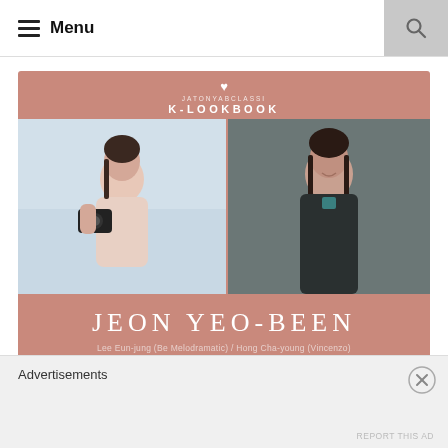≡ Menu
[Figure (illustration): K-Lookbook feature card for Jeon Yeo-been showing two photos: left photo from Be Melodramatic (woman in blush top holding camera), right photo from Vincenzo (woman in dark blazer). Card has dusty rose/terracotta background with site branding, actor name JEON YEO-BEEN, and role credits: Lee Eun-jung (Be Melodramatic) / Hong Cha-young (Vincenzo).]
K-Lookbook: Jeon Yeo-been (Be
Advertisements